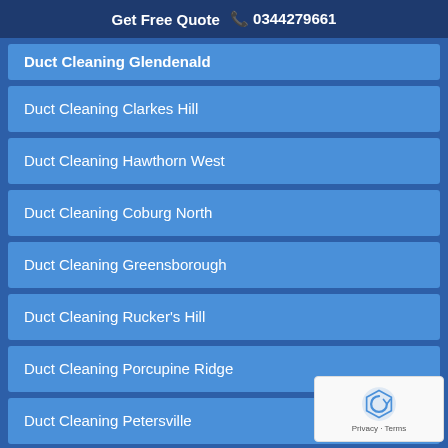Get Free Quote  📞 0344279661
Duct Cleaning Glendenald
Duct Cleaning Clarkes Hill
Duct Cleaning Hawthorn West
Duct Cleaning Coburg North
Duct Cleaning Greensborough
Duct Cleaning Rucker's Hill
Duct Cleaning Porcupine Ridge
Duct Cleaning Petersville
Duct Cleaning Burnside